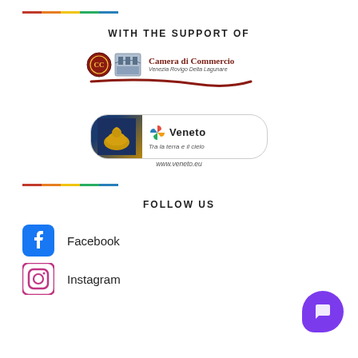[Figure (illustration): Rainbow colored horizontal divider line at top]
WITH THE SUPPORT OF
[Figure (logo): Camera di Commercio Venezia Rovigo Delta Lagunare logo with red swoosh]
[Figure (logo): Veneto Tra la terra e il cielo logo with golden lion and colorful pinwheel, www.veneto.eu]
[Figure (illustration): Rainbow colored horizontal divider line in middle]
FOLLOW US
Facebook
Instagram